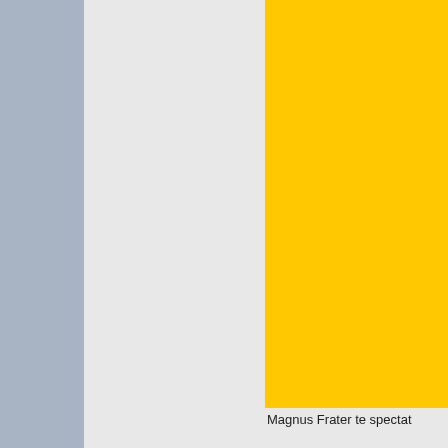[Figure (other): Large yellow advertisement block]
Magnus Frater te spectat
E-A-G-L-E!
Rich Corinthian Leather Jacket
From: The Land of 10,000+ Slushy Ice Rinks
Karma: 23
Posts: 5095
Offline
Re: BF Haul is here!
« Reply #9 on: November 24, 2006, 12:16:39 PM »
Now, a few years old, but a Sony DSC W7 (7MP).
Logged
He is no fool who gives what he cannot keep to gain that which he cannot lose.  - Jim Elliot
[Figure (screenshot): Golf game screenshot banner at bottom]